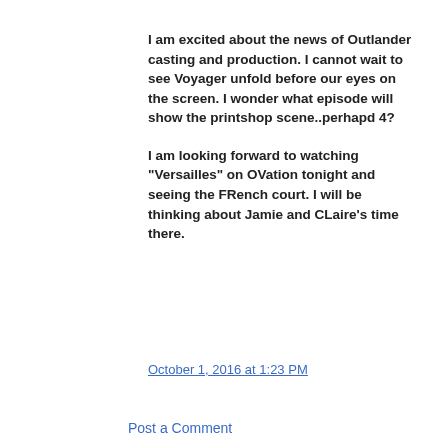I am excited about the news of Outlander casting and production. I cannot wait to see Voyager unfold before our eyes on the screen. I wonder what episode will show the printshop scene..perhapd 4?

I am looking forward to watching "Versailles" on OVation tonight and seeing the FRench court. I will be thinking about Jamie and CLaire's time there.
October 1, 2016 at 1:23 PM
Post a Comment
Search this Blog